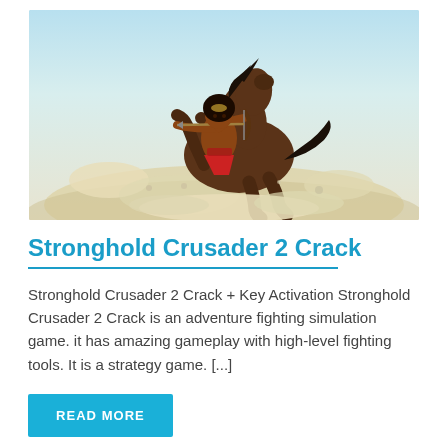[Figure (illustration): Game artwork showing a warrior archer riding a rearing horse in a dusty battlefield scene. The warrior is shirtless with red cloth, drawing a bow. Sky is light blue, ground is dusty white/beige.]
Stronghold Crusader 2 Crack
Stronghold Crusader 2 Crack + Key Activation Stronghold Crusader 2 Crack is an adventure fighting simulation game. it has amazing gameplay with high-level fighting tools. It is a strategy game. [...]
READ MORE